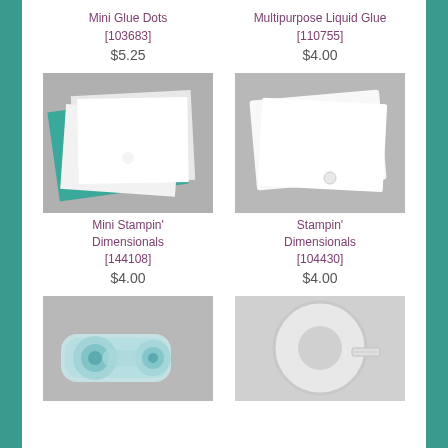Mini Glue Dots [103683] $5.25
Multipurpose Liquid Glue [110755] $4.00
[Figure (photo): Mini Stampin' Dimensionals product — stacked white and teal foam sheets with adhesive dots]
Mini Stampin' Dimensionals [144108] $4.00
[Figure (photo): Stampin' Dimensionals product — white foam adhesive squares/paper on gray background]
Stampin' Dimensionals [104430] $4.00
[Figure (photo): Tape runner applicator device on gray background]
[Figure (photo): White double-sided tape roll on light gray background]